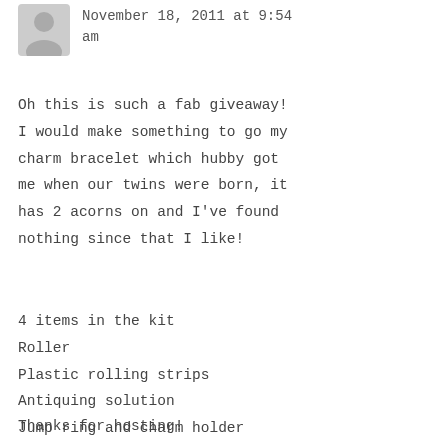[Figure (illustration): Grey avatar/profile silhouette icon in the top-left corner]
November 18, 2011 at 9:54 am
Oh this is such a fab giveaway! I would make something to go my charm bracelet which hubby got me when our twins were born, it has 2 acorns on and I've found nothing since that I like!
4 items in the kit
Roller
Plastic rolling strips
Antiquing solution
Jump ring and charm holder
Thanks for hosting!